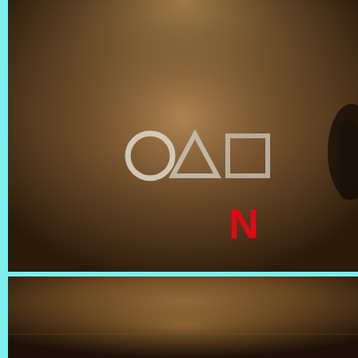[Figure (photo): Dark brownish-amber background with Squid Game symbols (circle, triangle, square) in white/silver and Netflix 'N' logo in red below them. A dark silhouetted figure visible at the right edge.]
[Figure (photo): Dark brownish-amber gradient background, similar to the top panel but cropped showing a floor/room area.]